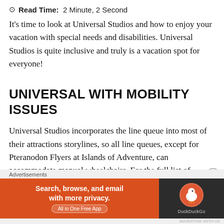⊙ Read Time: 2 Minute, 2 Second
It's time to look at Universal Studios and how to enjoy your vacation with special needs and disabilities. Universal Studios is quite inclusive and truly is a vacation spot for everyone!
UNIVERSAL WITH MOBILITY ISSUES
Universal Studios incorporates the line queue into most of their attractions storylines, so all line queues, except for Pteranodon Flyers at Islands of Adventure, can accommodate manual wheelchairs. For the full list of requirements and accommodations for Universal's attractions, visit
Advertisements
[Figure (infographic): DuckDuckGo advertisement banner: orange left panel with text 'Search, browse, and email with more privacy. All in One Free App', dark right panel with DuckDuckGo logo]